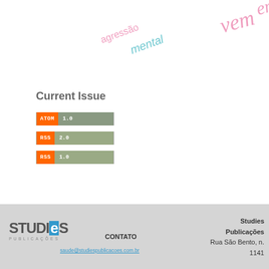[Figure (illustration): Word cloud showing Portuguese keywords including 'agressão' in pink, 'mental' in teal/cyan italic, 'vem' in pink cursive large, 'cor' in yellow-green, 'sars-' in yellow-green, and partial other words. Words appear at various angles.]
Current Issue
[Figure (other): ATOM 1.0 feed badge - orange ATOM label with green-grey 1.0 version]
[Figure (other): RSS 2.0 feed badge - orange RSS label with green-grey 2.0 version]
[Figure (other): RSS 1.0 feed badge - orange RSS label with green-grey 1.0 version]
[Figure (logo): Studies Publicações logo - STUDIES text with stylized E in blue box, PUBLICAÇÕES in small caps below]
CONTATO
saude@studiespublicacoes.com.br
Studies
Publicações
Rua São Bento, n. 1141